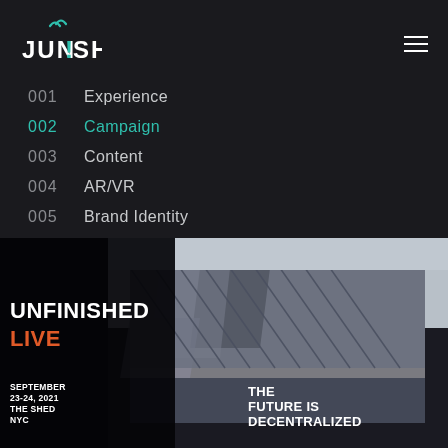[Figure (logo): JUNE!SH logo with teal exclamation mark and decorative icon above]
001  Experience
002  Campaign
003  Content
004  AR/VR
005  Brand Identity
[Figure (screenshot): UNFINISHED LIVE event banner with photo of The Shed NYC building. Text: UNFINISHED LIVE, THE FUTURE IS DECENTRALIZED, SEPTEMBER 23-24, 2021, THE SHED NYC]